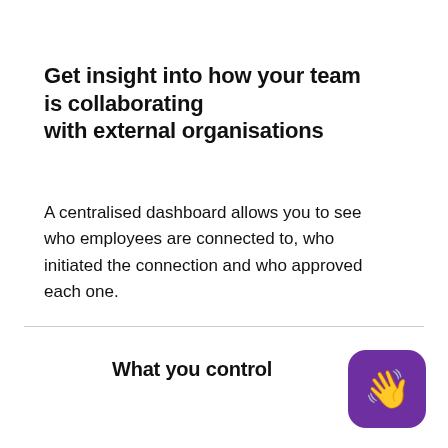Get insight into how your team is collaborating with external organisations
A centralised dashboard allows you to see who employees are connected to, who initiated the connection and who approved each one.
What you control
[Figure (illustration): Waving hand emoji on a purple rounded square background]